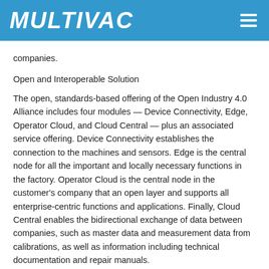MULTIVAC
companies.
Open and Interoperable Solution
The open, standards-based offering of the Open Industry 4.0 Alliance includes four modules — Device Connectivity, Edge, Operator Cloud, and Cloud Central — plus an associated service offering. Device Connectivity establishes the connection to the machines and sensors. Edge is the central node for all the important and locally necessary functions in the factory. Operator Cloud is the central node in the customer's company that an open layer and supports all enterprise-centric functions and applications. Finally, Cloud Central enables the bidirectional exchange of data between companies, such as master data and measurement data from calibrations, as well as information including technical documentation and repair manuals.